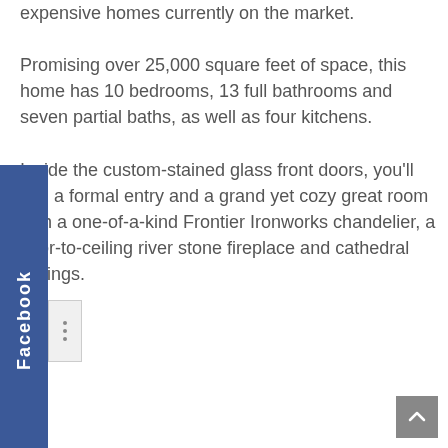expensive homes currently on the market. Promising over 25,000 square feet of space, this home has 10 bedrooms, 13 full bathrooms and seven partial baths, as well as four kitchens. Inside the custom-stained glass front doors, you'll find a formal entry and a grand yet cozy great room with a one-of-a-kind Frontier Ironworks chandelier, a floor-to-ceiling river stone fireplace and cathedral ceilings.